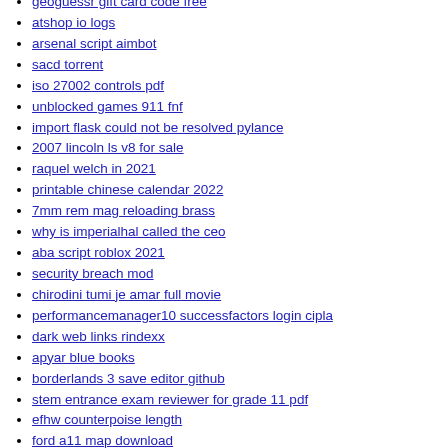geoguessr gift card code free
atshop io logs
arsenal script aimbot
sacd torrent
iso 27002 controls pdf
unblocked games 911 fnf
import flask could not be resolved pylance
2007 lincoln ls v8 for sale
raquel welch in 2021
printable chinese calendar 2022
7mm rem mag reloading brass
why is imperialhal called the ceo
aba script roblox 2021
security breach mod
chirodini tumi je amar full movie
performancemanager10 successfactors login cipla
dark web links rindexx
apyar blue books
borderlands 3 save editor github
stem entrance exam reviewer for grade 11 pdf
efhw counterpoise length
ford a11 map download
wemod pro account free
cinevault western schedule
wire 026009593 account number tax id in pdf